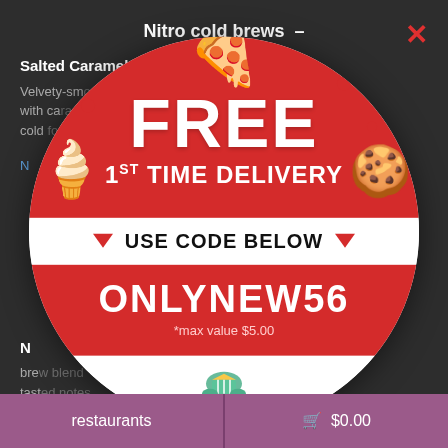Nitro cold brews –
Salted Caramel C... Brew –
Velvety-sm... with ca... cold...
[Figure (infographic): Promotional popup circle with red and white sections. Top section (red): 'FREE' in large bold white text, '1ST TIME DELIVERY' below. Middle white band: triangle arrows and 'USE CODE BELOW' in bold. Lower red section: promo code 'ONLYNEW56' in large white text, '*max value $5.00' below. White bottom with Takeout 4 You logo. Decorative food illustrations: pizza slice at top, ice cream cone on left, cookie on right, red dots scattered.]
restaurants    🛒 $0.00